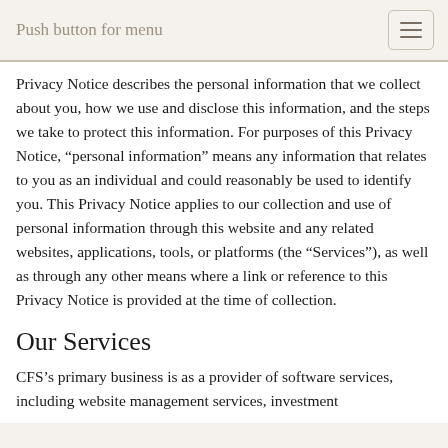Push button for menu
Privacy Notice describes the personal information that we collect about you, how we use and disclose this information, and the steps we take to protect this information. For purposes of this Privacy Notice, “personal information” means any information that relates to you as an individual and could reasonably be used to identify you. This Privacy Notice applies to our collection and use of personal information through this website and any related websites, applications, tools, or platforms (the “Services”), as well as through any other means where a link or reference to this Privacy Notice is provided at the time of collection.
Our Services
CFS’s primary business is as a provider of software services, including website management services, investment